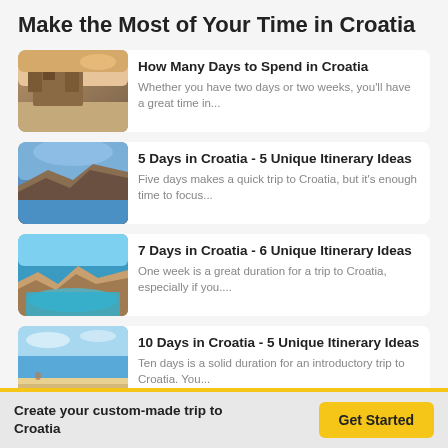Make the Most of Your Time in Croatia
How Many Days to Spend in Croatia — Whether you have two days or two weeks, you'll have a great time in...
5 Days in Croatia - 5 Unique Itinerary Ideas — Five days makes a quick trip to Croatia, but it's enough time to focus...
7 Days in Croatia - 6 Unique Itinerary Ideas — One week is a great duration for a trip to Croatia, especially if you....
10 Days in Croatia - 5 Unique Itinerary Ideas — Ten days is a solid duration for an introductory trip to Croatia. You...
14 Days in Croatia - 5 Unique Itinerary Ideas
Create your custom-made trip to Croatia
Get Started